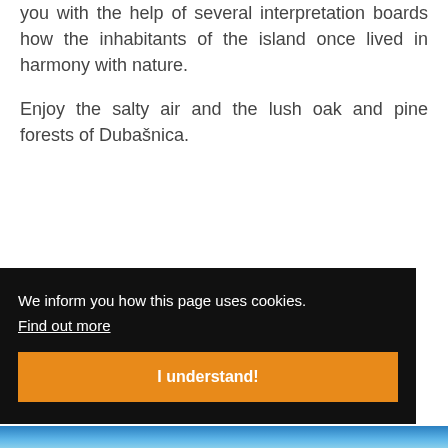you with the help of several interpretation boards how the inhabitants of the island once lived in harmony with nature.
Enjoy the salty air and the lush oak and pine forests of Dubašnica.
We inform you how this page uses cookies.
Find out more
I understand!